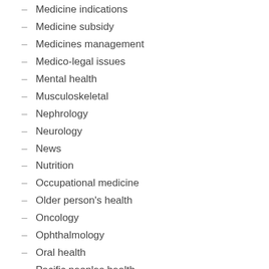Medicine indications
Medicine subsidy
Medicines management
Medico-legal issues
Mental health
Musculoskeletal
Nephrology
Neurology
News
Nutrition
Occupational medicine
Older person's health
Oncology
Ophthalmology
Oral health
Pacific peoples health
Pain management
Palliative care
Peer group discussions